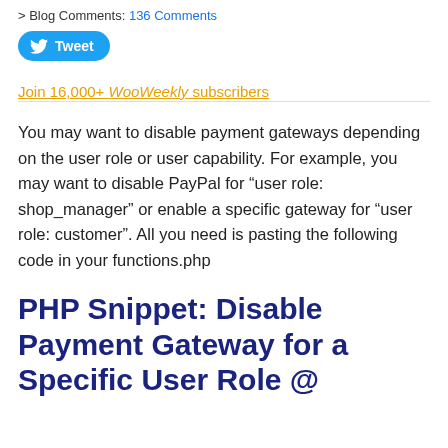> Blog Comments: 136 Comments
[Figure (other): Twitter Tweet button (blue rounded pill with bird icon and 'Tweet' text)]
Join 16,000+ WooWeekly subscribers
You may want to disable payment gateways depending on the user role or user capability. For example, you may want to disable PayPal for “user role: shop_manager” or enable a specific gateway for “user role: customer”. All you need is pasting the following code in your functions.php
PHP Snippet: Disable Payment Gateway for a Specific User Role @